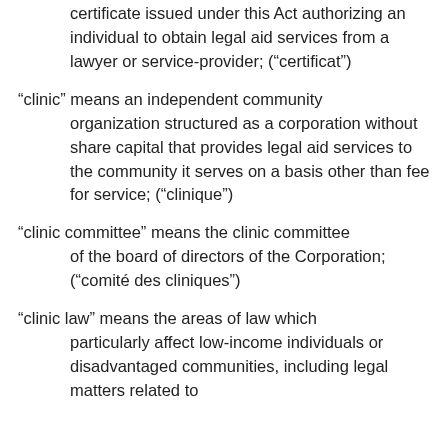certificate issued under this Act authorizing an individual to obtain legal aid services from a lawyer or service-provider; (“certificat”)
“clinic” means an independent community organization structured as a corporation without share capital that provides legal aid services to the community it serves on a basis other than fee for service; (“clinique”)
“clinic committee” means the clinic committee of the board of directors of the Corporation; (“comité des cliniques”)
“clinic law” means the areas of law which particularly affect low-income individuals or disadvantaged communities, including legal matters related to